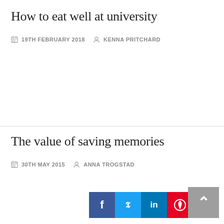How to eat well at university
19TH FEBRUARY 2018  KENNA PRITCHARD
The value of saving memories
30TH MAY 2015  ANNA TROGSTAD